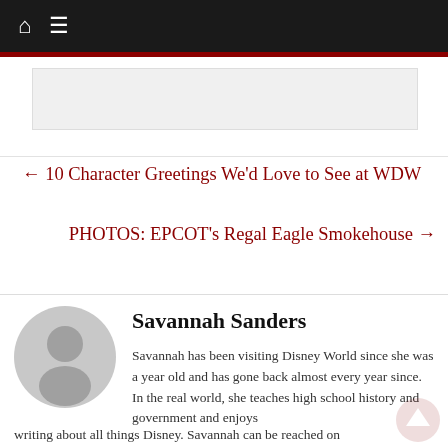Home | Menu navigation bar
[Figure (other): Grey placeholder/advertisement box]
← 10 Character Greetings We'd Love to See at WDW
PHOTOS: EPCOT's Regal Eagle Smokehouse →
Savannah Sanders
Savannah has been visiting Disney World since she was a year old and has gone back almost every year since. In the real world, she teaches high school history and government and enjoys writing about all things Disney. Savannah can be reached on